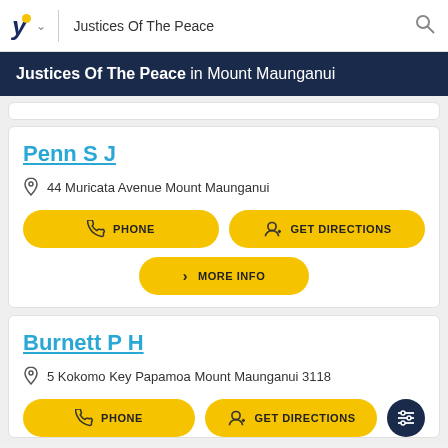Justices Of The Peace
Justices Of The Peace in Mount Maunganui
Penn S J
44 Muricata Avenue Mount Maunganui
PHONE
GET DIRECTIONS
MORE INFO
Burnett P H
5 Kokomo Key Papamoa Mount Maunganui 3118
PHONE
GET DIRECTIONS